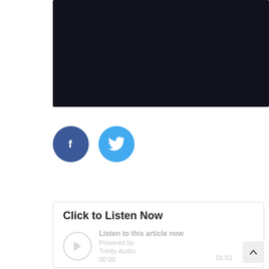[Figure (screenshot): Dark/black rectangular image area at the top of the page]
[Figure (infographic): Two social media share buttons: Facebook (dark blue circle with 'f') and Twitter (light blue circle with bird icon)]
Click to Listen Now
[Figure (screenshot): Audio player widget showing: 'Listen to this article now Powered by Trinity Audio' with play button, time 00:00 and 01:51]